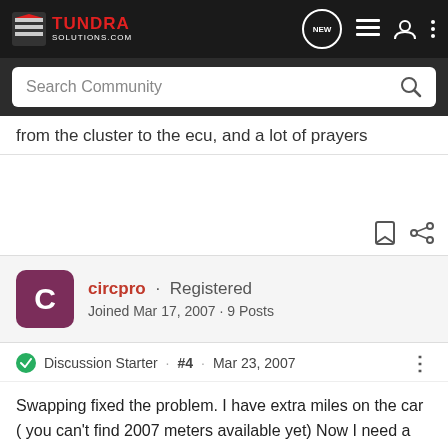TUNDRA SOLUTIONS.COM
from the cluster to the ecu, and a lot of prayers
circpro · Registered
Joined Mar 17, 2007 · 9 Posts
Discussion Starter · #4 · Mar 23, 2007
Swapping fixed the problem. I have extra miles on the car ( you can't find 2007 meters available yet) Now I need a decent repair shop to troubleshoot the old one so I don't lose anymore of my